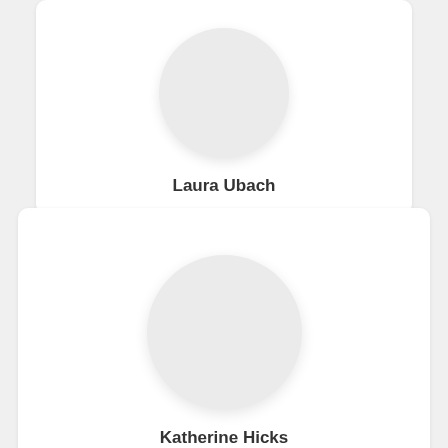[Figure (illustration): Circular avatar placeholder for Laura Ubach]
Laura Ubach
[Figure (illustration): Circular avatar placeholder for Katherine Hicks]
Katherine Hicks